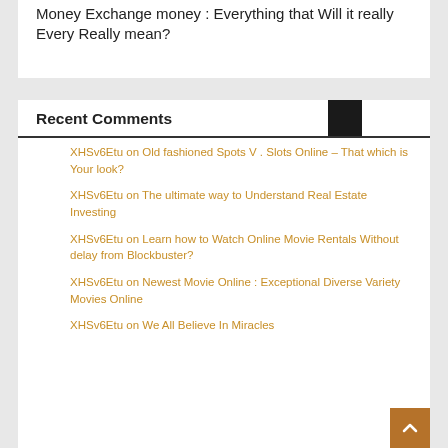Money Exchange money : Everything that Will it really Every Really mean?
Recent Comments
XHSv6Etu on Old fashioned Spots V . Slots Online – That which is Your look?
XHSv6Etu on The ultimate way to Understand Real Estate Investing
XHSv6Etu on Learn how to Watch Online Movie Rentals Without delay from Blockbuster?
XHSv6Etu on Newest Movie Online : Exceptional Diverse Variety Movies Online
XHSv6Etu on We All Believe In Miracles